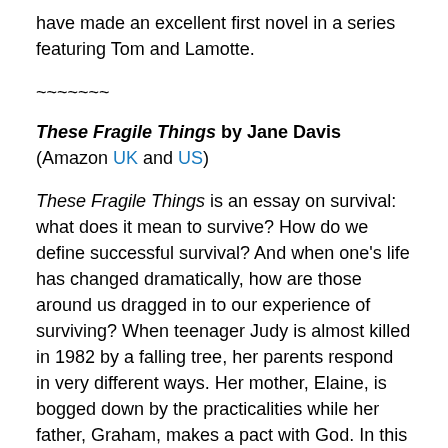have made an excellent first novel in a series featuring Tom and Lamotte.
~~~~~~~
These Fragile Things by Jane Davis (Amazon UK and US)
These Fragile Things is an essay on survival: what does it mean to survive? How do we define successful survival? And when one's life has changed dramatically, how are those around us dragged in to our experience of surviving? When teenager Judy is almost killed in 1982 by a falling tree, her parents respond in very different ways. Her mother, Elaine, is bogged down by the practicalities while her father, Graham, makes a pact with God. In this intense, emotionally complex novel, we witness (in the Biblical sense as well as the literal narrative sense) how